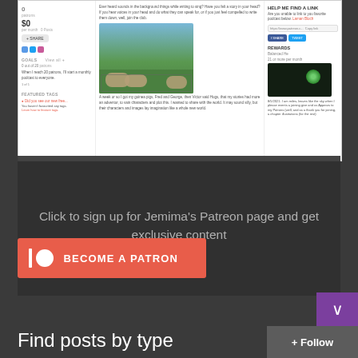[Figure (screenshot): Screenshot of a Patreon page showing patron count, $0 per month, share button, goals section, featured tags, a center post with photo of guinea pigs/sheep in a cage outdoors, and right sidebar with share links and rewards thumbnail]
Click to sign up for Jemima's Patreon page and get exclusive content
[Figure (other): Become a Patron button with Patreon logo (white circle on red background) and text BECOME A PATRON]
Find posts by type
Follow